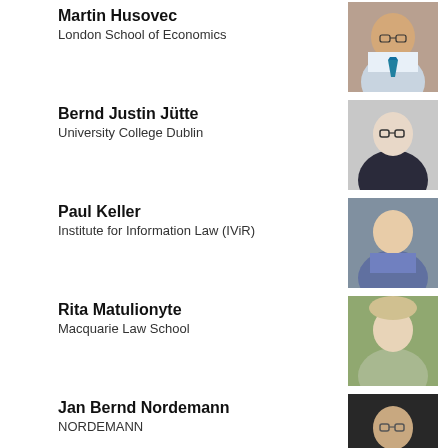Martin Husovec
London School of Economics
[Figure (photo): Portrait photo of Martin Husovec]
Bernd Justin Jütte
University College Dublin
[Figure (photo): Portrait photo of Bernd Justin Jütte]
Paul Keller
Institute for Information Law (IViR)
[Figure (photo): Portrait photo of Paul Keller]
Rita Matulionyte
Macquarie Law School
[Figure (photo): Portrait photo of Rita Matulionyte]
Jan Bernd Nordemann
NORDEMANN
[Figure (photo): Portrait photo of Jan Bernd Nordemann]
Giulia Priora
NOVA School of Law Lisbon
[Figure (photo): Portrait photo of Giulia Priora]
Felix Reda
GFF (Society for Civil Rights)
[Figure (photo): Portrait photo of Felix Reda]